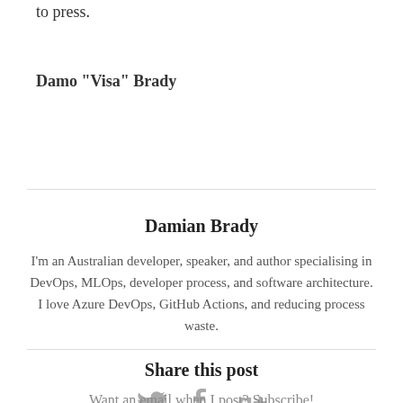to press.
Damo "Visa" Brady
Damian Brady
I'm an Australian developer, speaker, and author specialising in DevOps, MLOps, developer process, and software architecture. I love Azure DevOps, GitHub Actions, and reducing process waste.
Share this post
[Figure (other): Social media icons: Twitter bird, Facebook f, Google+ g+]
Want an email when I post? Subscribe!